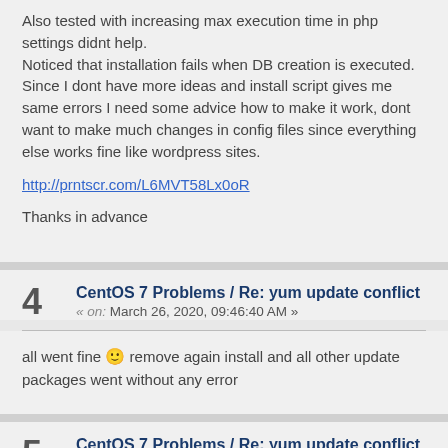Also tested with increasing max execution time in php settings didnt help.
Noticed that installation fails when DB creation is executed.
Since I dont have more ideas and install script gives me same errors I need some advice how to make it work, dont want to make much changes in config files since everything else works fine like wordpress sites.
http://prntscr.com/L6MVT58Lx0oR
Thanks in advance
CentOS 7 Problems / Re: yum update conflict
« on: March 26, 2020, 09:46:40 AM »
all went fine 🙂 remove again install and all other update packages went without any error
CentOS 7 Problems / Re: yum update conflict